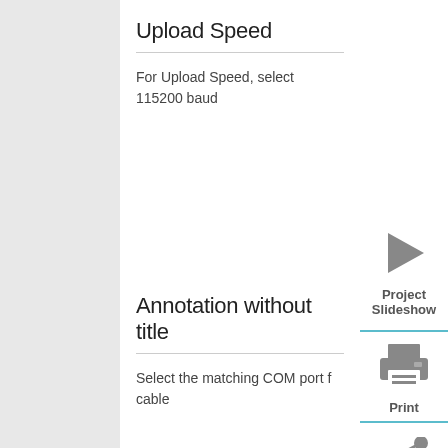Upload Speed
For Upload Speed, select 115200 baud
Annotation without title
Select the matching COM port f cable
[Figure (illustration): Play button triangle icon with label 'Project Slideshow']
[Figure (illustration): Printer icon with label 'Print']
[Figure (illustration): Share icon (three circles connected)]